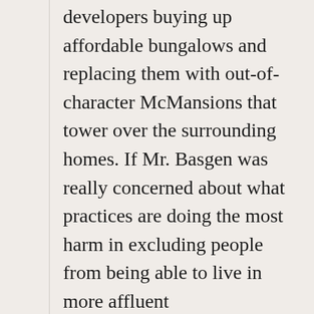developers buying up affordable bungalows and replacing them with out-of-character McMansions that tower over the surrounding homes. If Mr. Basgen was really concerned about what practices are doing the most harm in excluding people from being able to live in more affluent neighborhoods, that should have been the focus of his one-sided piece. Instead, he takes some cheap shots at people who weren't willing to allow developers to exploit their community.